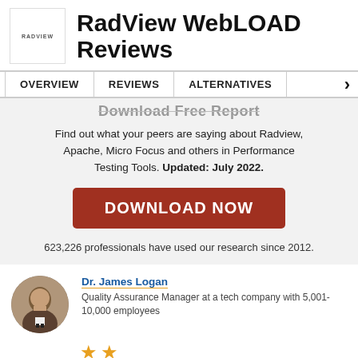RadView WebLOAD Reviews
OVERVIEW | REVIEWS | ALTERNATIVES
Download Free Report
Find out what your peers are saying about Radview, Apache, Micro Focus and others in Performance Testing Tools. Updated: July 2022.
DOWNLOAD NOW
623,226 professionals have used our research since 2012.
Dr. James Logan
Quality Assurance Manager at a tech company with 5,001-10,000 employees